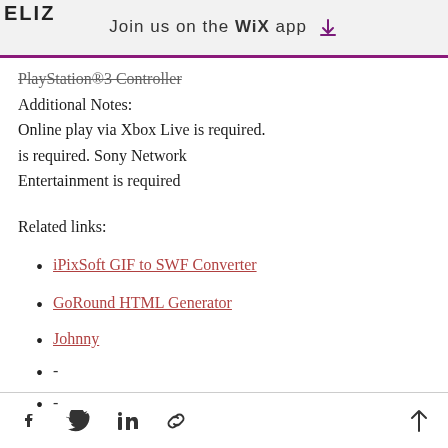Join us on the WiX app
PlayStation®3 Controller
Additional Notes:
Online play via Xbox Live is required. is required. Sony Network Entertainment is required
Related links:
iPixSoft GIF to SWF Converter
GoRound HTML Generator
Johnny
-
-